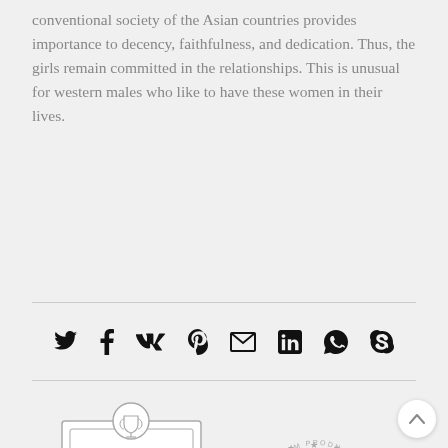conventional society of the Asian countries provides importance to decency, faithfulness, and dedication. Thus, the girls remain committed in the relationships. This is unusual for western males who like to have these women in their lives.
[Figure (infographic): Row of social sharing icons: Twitter (bird), Facebook (f), VK, Pinterest (P), Email (envelope), LinkedIn (in), WhatsApp, Skype]
[Figure (logo): Design Trends of 2018 badge with trophy icon, grey outline badge style]
[Figure (logo): Premium Products Business Established badge in grey outline style]